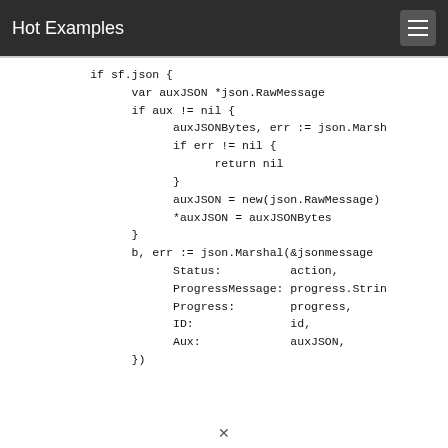Hot Examples
[Figure (screenshot): Code snippet showing Go language code with if sf.json block, variable declarations, json.Marshal calls, and struct field assignments including Status, ProgressMessage, Progress, ID, Aux.]